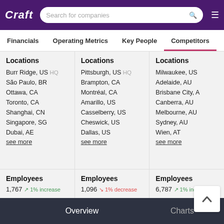Craft | Search for companies
Financials | Operating Metrics | Key People | Competitors
Locations
Burr Ridge, US HQ
São Paulo, BR
Ottawa, CA
Toronto, CA
Shanghai, CN
Singapore, SG
Dubai, AE
see more
Locations
Pittsburgh, US HQ
Brampton, CA
Montréal, CA
Amarillo, US
Casselberry, US
Cheswick, US
Dallas, US
see more
Locations
Milwaukee, US
Adelaide, AU
Brisbane City, A
Canberra, AU
Melbourne, AU
Sydney, AU
Wien, AT
see more
Employees
1,767 ↗ 1% increase
Employees
1,096 ↘ 1% decrease
Employees
6,787 ↗ 1% increase
Overview | Charts